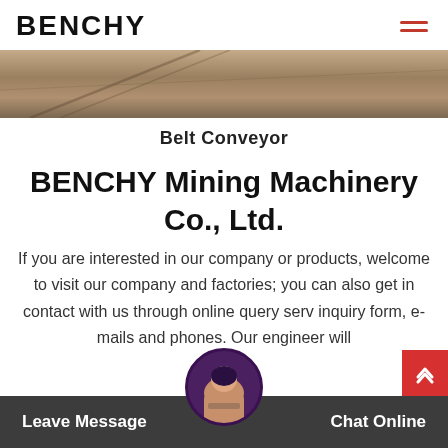BENCHY
[Figure (photo): Hero image showing mining/conveyor equipment with brownish tones]
Belt Conveyor
BENCHY Mining Machinery Co., Ltd.
If you are interested in our company or products, welcome to visit our company and factories; you can also get in contact with us through online query serv inquiry form, e-mails and phones. Our engineer will Leave Message info specification Chat Online d
Leave Message   Chat Online